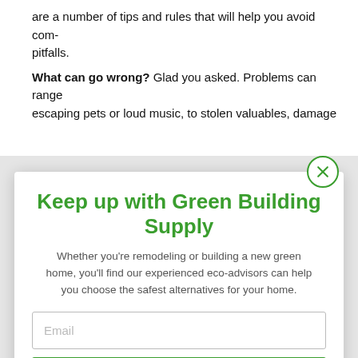are a number of tips and rules that will help you avoid common pitfalls.
What can go wrong? Glad you asked. Problems can range from escaping pets or loud music, to stolen valuables, damage
Keep up with Green Building Supply
Whether you're remodeling or building a new green home, you'll find our experienced eco-advisors can help you choose the safest alternatives for your home.
Email
SIGN UP